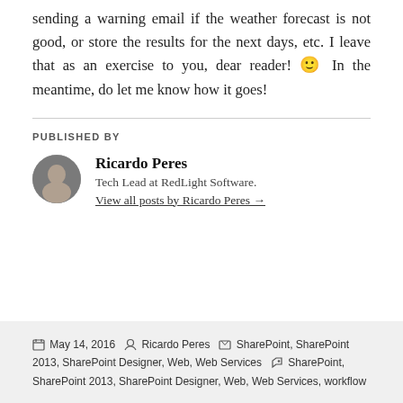sending a warning email if the weather forecast is not good, or store the results for the next days, etc. I leave that as an exercise to you, dear reader! 🙂 In the meantime, do let me know how it goes!
PUBLISHED BY
[Figure (photo): Circular avatar photo of Ricardo Peres]
Ricardo Peres
Tech Lead at RedLight Software.
View all posts by Ricardo Peres →
May 14, 2016  Ricardo Peres  Categories: SharePoint, SharePoint 2013, SharePoint Designer, Web, Web Services  Tags: SharePoint, SharePoint 2013, SharePoint Designer, Web, Web Services, workflow